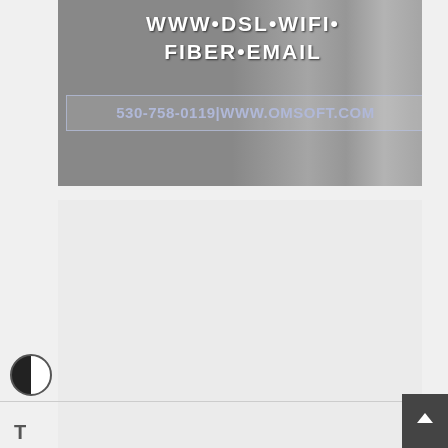[Figure (advertisement): Gray advertisement banner showing text 'WWW•DSL•WIFI•FIBER•EMAIL' and contact bar '530-758-0119|WWW.OMSOFT.COM' on a dark gray background with a faded image on the right side]
[Figure (other): Large light gray/white empty placeholder block below the advertisement]